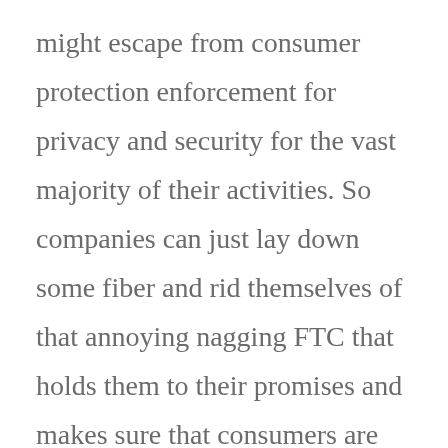might escape from consumer protection enforcement for privacy and security for the vast majority of their activities. So companies can just lay down some fiber and rid themselves of that annoying nagging FTC that holds them to their promises and makes sure that consumers are protected.

This is an awful decision for consumers. It